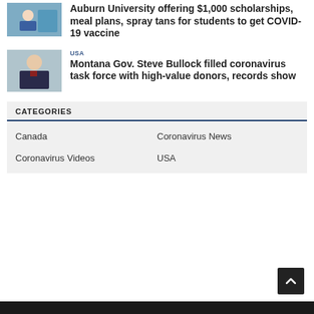[Figure (photo): Vaccine administration photo thumbnail]
Auburn University offering $1,000 scholarships, meal plans, spray tans for students to get COVID-19 vaccine
[Figure (photo): Man in suit, Montana Governor Steve Bullock photo thumbnail]
USA
Montana Gov. Steve Bullock filled coronavirus task force with high-value donors, records show
CATEGORIES
Canada
Coronavirus News
Coronavirus Videos
USA